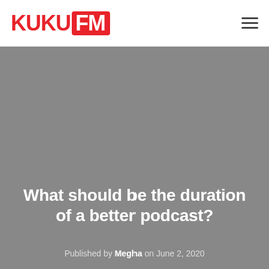KUKU FM
[Figure (photo): Gray background hero image area for blog post header]
What should be the duration of a better podcast?
Published by Megha on June 2, 2020